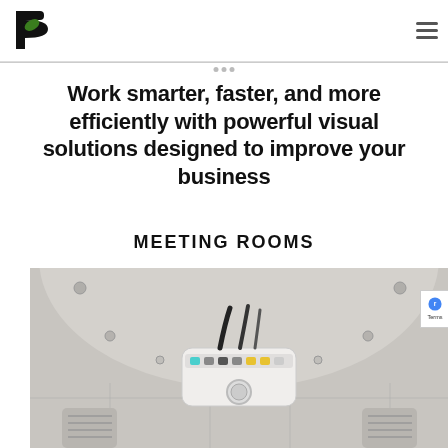[Figure (logo): Black letter P logo with green leaf accent, company logo top left]
Work smarter, faster, and more efficiently with powerful visual solutions designed to improve your business
MEETING ROOMS
[Figure (photo): Ceiling-mounted projector in a meeting room, viewed from below, with ceiling tiles and ventilation grilles visible]